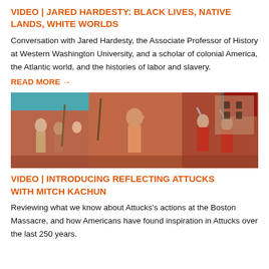VIDEO | JARED HARDESTY: BLACK LIVES, NATIVE LANDS, WHITE WORLDS
Conversation with Jared Hardesty, the Associate Professor of History at Western Washington University, and a scholar of colonial America, the Atlantic world, and the histories of labor and slavery.
READ MORE →
[Figure (illustration): Historical illustration/painting depicting a scene from the Boston Massacre era, showing colonial figures in conflict with red-coated soldiers, rendered in warm reddish-brown tones.]
VIDEO | INTRODUCING REFLECTING ATTUCKS WITH MITCH KACHUN
Reviewing what we know about Attucks's actions at the Boston Massacre, and how Americans have found inspiration in Attucks over the last 250 years.